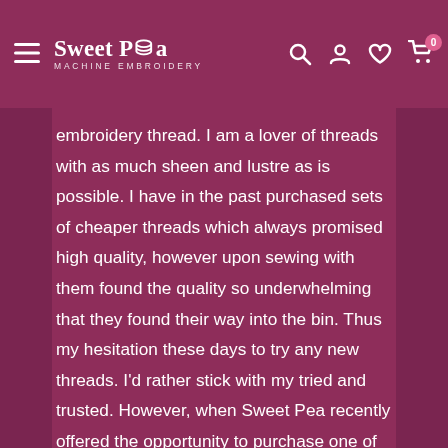Sweet Pea Machine Embroidery — navigation header with hamburger menu, logo, search, account, wishlist, and cart icons
embroidery thread. I am a lover of threads with as much sheen and lustre as is possible. I have in the past purchased sets of cheaper threads which always promised high quality, however upon sewing with them found the quality so underwhelming that they found their way into the bin. Thus my hesitation these days to try any new threads. I'd rather stick with my tried and trusted. However, when Sweet Pea recently offered the opportunity to purchase one of their fabric bundles and receive the brights thread pack for free, I knew I would have to